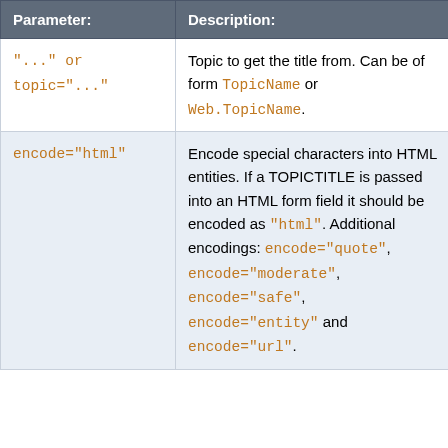| Parameter: | Description: | Defau... |
| --- | --- | --- |
| "..." or
topic="..." | Topic to get the title from. Can be of form TopicName or Web.TopicName. | Curre... topic |
| encode="html" | Encode special characters into HTML entities. If a TOPICTITLE is passed into an HTML form field it should be encoded as "html". Additional encodings: encode="quote", encode="moderate", encode="safe", encode="entity" and encode="url". | "" (no encod... |